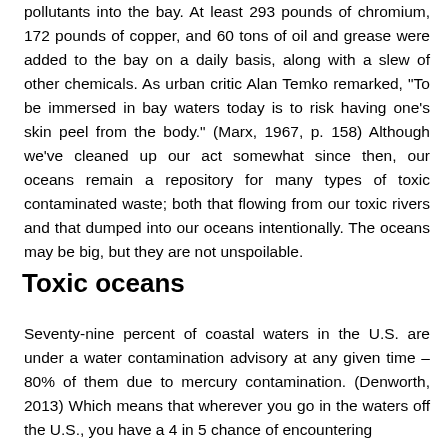pollutants into the bay. At least 293 pounds of chromium, 172 pounds of copper, and 60 tons of oil and grease were added to the bay on a daily basis, along with a slew of other chemicals. As urban critic Alan Temko remarked, "To be immersed in bay waters today is to risk having one's skin peel from the body." (Marx, 1967, p. 158) Although we've cleaned up our act somewhat since then, our oceans remain a repository for many types of toxic contaminated waste; both that flowing from our toxic rivers and that dumped into our oceans intentionally. The oceans may be big, but they are not unspoilable.
Toxic oceans
Seventy-nine percent of coastal waters in the U.S. are under a water contamination advisory at any given time – 80% of them due to mercury contamination. (Denworth, 2013) Which means that wherever you go in the waters off the U.S., you have a 4 in 5 chance of encountering